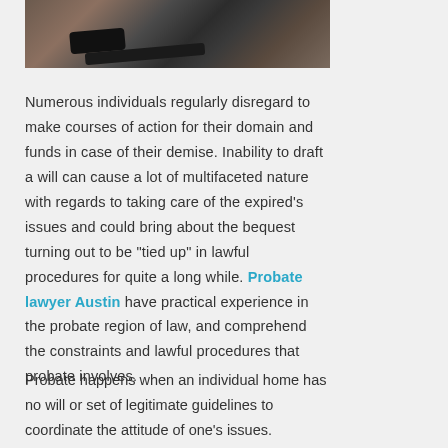[Figure (photo): Photo of judge gavels/hammers on a wooden surface, partially cropped at top of page]
Numerous individuals regularly disregard to make courses of action for their domain and funds in case of their demise. Inability to draft a will can cause a lot of multifaceted nature with regards to taking care of the expired’s issues and could bring about the bequest turning out to be “tied up” in lawful procedures for quite a long while. Probate lawyer Austin have practical experience in the probate region of law, and comprehend the constraints and lawful procedures that probate involves.
Probate happens when an individual home has no will or set of legitimate guidelines to coordinate the attitude of one’s issues.